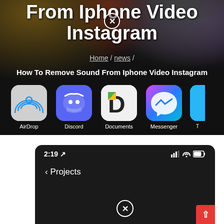[Figure (screenshot): Top section: dark background with pixelated images, large white bold title text partially visible 'From Iphone Video Instagram', breadcrumb navigation 'Home / news /', subtitle 'How To Remove Sound From Iphone Video Instagram', and a row of app icons (AirDrop, Discord, Documents, Messenger, and a partially visible app).]
Home / news /
How To Remove Sound From Iphone Video Instagram
[Figure (screenshot): Phone screenshot showing iOS status bar with time 2:19, signal bars, WiFi, and battery icons, a back button labeled '< Projects', a close/cancel button (circled X) at bottom center, and a red corner element with upward arrow at bottom right.]